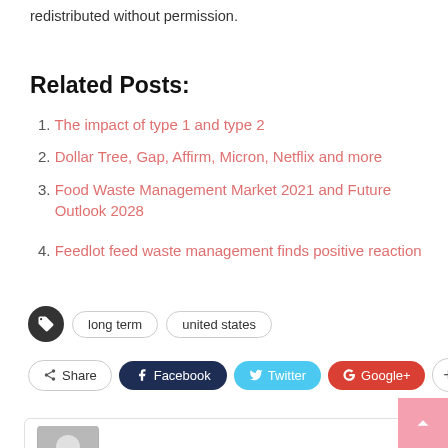redistributed without permission.
Related Posts:
The impact of type 1 and type 2
Dollar Tree, Gap, Affirm, Micron, Netflix and more
Food Waste Management Market 2021 and Future Outlook 2028
Feedlot feed waste management finds positive reaction
long term   united states
Share   Facebook   Twitter   Google+   +
James L. Chandler